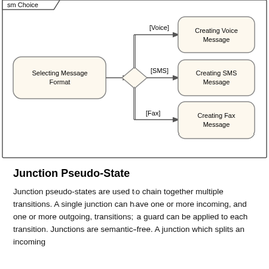[Figure (flowchart): UML state machine diagram showing a choice pseudo-state. 'Selecting Message Format' state leads to a diamond decision node, which branches to three states: 'Creating Voice Message' [Voice], 'Creating SMS Message' [SMS], and 'Creating Fax Message' [Fax]. The diagram is enclosed in a rounded rectangle with 'sm Choice' tab at top-left.]
Junction Pseudo-State
Junction pseudo-states are used to chain together multiple transitions. A single junction can have one or more incoming, and one or more outgoing, transitions; a guard can be applied to each transition. Junctions are semantic-free. A junction which splits an incoming